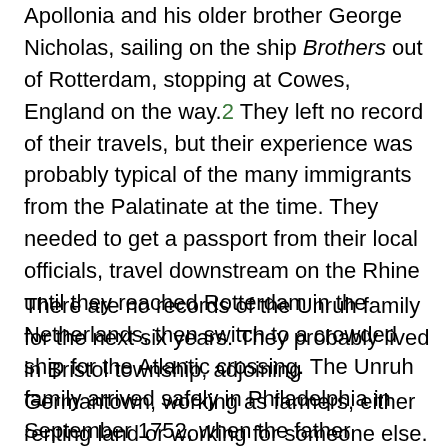Apollonia and his older brother George Nicholas, sailing on the ship Brothers out of Rotterdam, stopping at Cowes, England on the way.2 They left no record of their travels, but their experience was probably typical of the many immigrants from the Palatinate at the time. They needed to get a passport from their local officials, travel downstream on the Rhine until they reached Rotterdam in the Netherlands, then switch to a crowded ship for the Atlantic crossing. The Unruh family arrived safely in Philadelphia in September 1752, when the father Johannes took the oath of allegiance at the State House, in front of justice Edward Shippen.3 Johannes could not sign his name, and signed with a mark.
There are no records of the Unruh family for the next six years. They probably lived in Bristol township, adjoining Germantown, working as farmers, either renting land or working for someone else. The two teenage sons were part of the labor force. There would be little time for them to attend school, although they must have gone to school in Germany